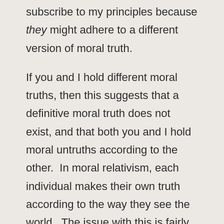subscribe to my principles because they might adhere to a different version of moral truth.
If you and I hold different moral truths, then this suggests that a definitive moral truth does not exist, and that both you and I hold moral untruths according to the other.  In moral relativism, each individual makes their own truth according to the way they see the world.  The issue with this is fairly obvious.  In the extreme case of moral relativism, there cannot be any sort stable society, which is built around some sort of moral code usually in the form of a law.  It is a good thing that it is illegal to kill someone premeditatively (i.e.